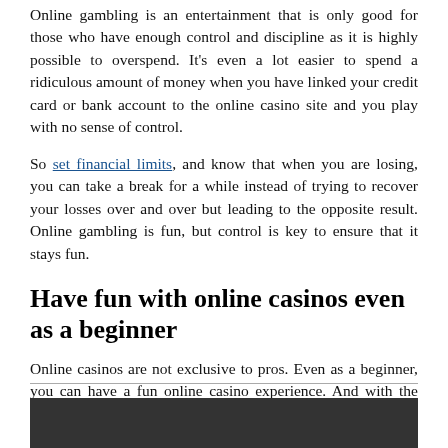Online gambling is an entertainment that is only good for those who have enough control and discipline as it is highly possible to overspend. It's even a lot easier to spend a ridiculous amount of money when you have linked your credit card or bank account to the online casino site and you play with no sense of control.
So set financial limits, and know that when you are losing, you can take a break for a while instead of trying to recover your losses over and over but leading to the opposite result. Online gambling is fun, but control is key to ensure that it stays fun.
Have fun with online casinos even as a beginner
Online casinos are not exclusive to pros. Even as a beginner, you can have a fun online casino experience. And with the tips above, you are 4 steps ahead in ensuring that you do have fun while playing in an online casino.
[Figure (photo): Dark background photo at the bottom of the page, partially visible]